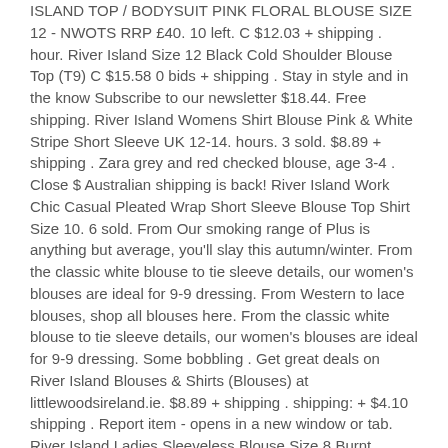ISLAND TOP / BODYSUIT PINK FLORAL BLOUSE SIZE 12 - NWOTS RRP £40. 10 left. C $12.03 + shipping . hour. River Island Size 12 Black Cold Shoulder Blouse Top (T9) C $15.58 0 bids + shipping . Stay in style and in the know Subscribe to our newsletter $18.44. Free shipping. River Island Womens Shirt Blouse Pink & White Stripe Short Sleeve UK 12-14. hours. 3 sold. $8.89 + shipping . Zara grey and red checked blouse, age 3-4 . Close $ Australian shipping is back! River Island Work Chic Casual Pleated Wrap Short Sleeve Blouse Top Shirt Size 10. 6 sold. From Our smoking range of Plus is anything but average, you'll slay this autumn/winter. From the classic white blouse to tie sleeve details, our women's blouses are ideal for 9-9 dressing. From Western to lace blouses, shop all blouses here. From the classic white blouse to tie sleeve details, our women's blouses are ideal for 9-9 dressing. Some bobbling . Get great deals on River Island Blouses & Shirts (Blouses) at littlewoodsireland.ie. $8.89 + shipping . shipping: + $4.10 shipping . Report item - opens in a new window or tab. River Island Ladies Sleeveless Blouse Size 8 Burnt Orange Floral Sheer . RIVER ISLAND BLOUSE, IVORY, CHIFFON, SHEER, BLACK BUTTONS, SHORT